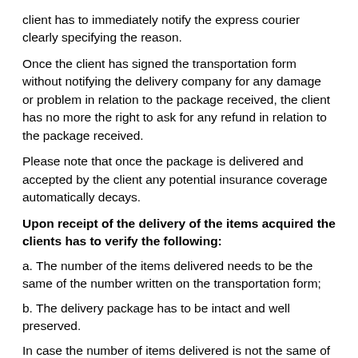client has to immediately notify the express courier clearly specifying the reason.
Once the client has signed the transportation form without notifying the delivery company for any damage or problem in relation to the package received, the client has no more the right to ask for any refund in relation to the package received.
Please note that once the package is delivered and accepted by the client any potential insurance coverage automatically decays.
Upon receipt of the delivery of the items acquired the clients has to verify the following:
a. The number of the items delivered needs to be the same of the number written on the transportation form;
b. The delivery package has to be intact and well preserved.
In case the number of items delivered is not the same of the number written on the transportation form and/or in case of damages caused by the delivery the client has to immediately notify the express courier clearly specifying the reason. Once the client has signed the transportation form without notifying the delivery company for any damage or problem in